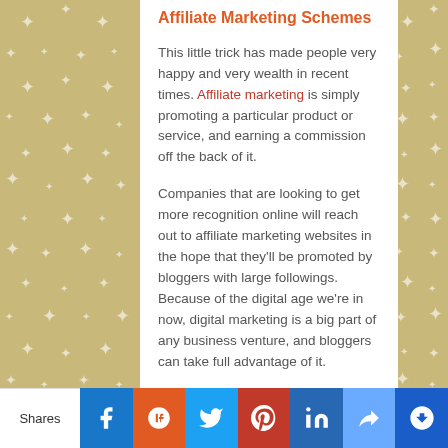Affiliate Marketing Schemes
This little trick has made people very happy and very wealth in recent times. Affiliate marketing is simply promoting a particular product or service, and earning a commission off the back of it.
Companies that are looking to get more recognition online will reach out to affiliate marketing websites in the hope that they'll be promoted by bloggers with large followings. Because of the digital age we're in now, digital marketing is a big part of any business venture, and bloggers can take full advantage of it.
If you can write pretty well, then you're in with a chance of making this stuff stick. There are so many different products online just waiting to be written about and promoted on blogs. If it's
Shares